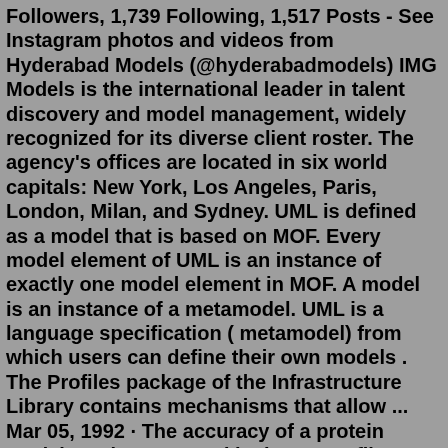Followers, 1,739 Following, 1,517 Posts - See Instagram photos and videos from Hyderabad Models (@hyderabadmodels) IMG Models is the international leader in talent discovery and model management, widely recognized for its diverse client roster. The agency's offices are located in six world capitals: New York, Los Angeles, Paris, London, Milan, and Sydney. UML is defined as a model that is based on MOF. Every model element of UML is an instance of exactly one model element in MOF. A model is an instance of a metamodel. UML is a language specification ( metamodel) from which users can define their own models . The Profiles package of the Infrastructure Library contains mechanisms that allow ... Mar 05, 1992 · The accuracy of a protein model can be assessed by its 3D profile, regardless of whether the model has been derived by X-ray, NMR or computational procedures. Nature - Assessment of protein models ... 10.6k Followers, 1,739 Following, 1,517 Posts - See Instagram photos and videos from Hyderabad Models (@hyderabadmodels) Actor.